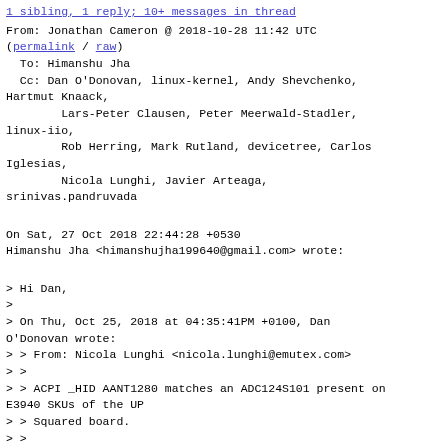1 sibling, 1 reply; 10+ messages in thread
From: Jonathan Cameron @ 2018-10-28 11:42 UTC
(permalink / raw)
  To: Himanshu Jha
  Cc: Dan O'Donovan, linux-kernel, Andy Shevchenko, Hartmut Knaack,
          Lars-Peter Clausen, Peter Meerwald-Stadler, linux-iio,
          Rob Herring, Mark Rutland, devicetree, Carlos Iglesias,
          Nicola Lunghi, Javier Arteaga,
srinivas.pandruvada
On Sat, 27 Oct 2018 22:44:28 +0530
Himanshu Jha <himanshujha199640@gmail.com> wrote:
> Hi Dan,
>
> On Thu, Oct 25, 2018 at 04:35:41PM +0100, Dan O'Donovan wrote:
> > From: Nicola Lunghi <nicola.lunghi@emutex.com>
> >
> > ACPI _HID AANT1280 matches an ADC124S101 present on E3940 SKUs of the UP
> > Squared board.
> >
> > Add it to the driver.
> >
> > Signed-off-by: Nicola Lunghi
<nicola.lunghi@emutex.com>
> > [javier@emutex.com: fix up commit message and one